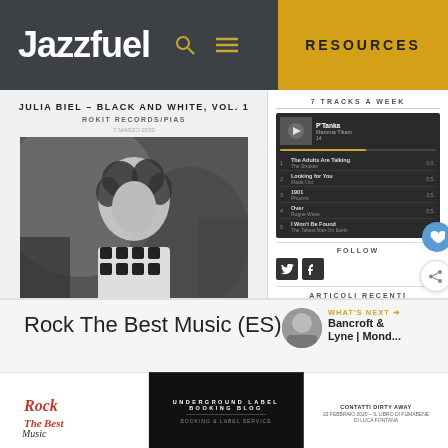Jazzfuel | RESOURCES
JULIA BIEL – BLACK AND WHITE, VOL. 1
ROKIT RECORDS/PIAS
[Figure (photo): Black and white portrait photo of Julia Biel, a woman with curly hair wearing a patterned top]
La voce di Julia Biel sembra essere sempre sul punto di rompersi dall'emozione. Intorno alle linee vocali il colore del soul danza come una fiammella su un pavimento livido e satinato dove si specchiano jazz e radici. È quarto disco della cantautrice e polistrumentista inglese è stato prodotto dal compositore/produttore/musicista Idris Rahman (Wildflower, Northerners) e mixato da Emre Ramazanoglu (Pu, Kylie Minogue). Black and White è un'elegante narrazione personale che non...
7 TRACKS A WEEK
[Figure (screenshot): Music player widget showing tracks: 1. The Adults Are Talking - The Strokes, 2. Looking for You - Made Out, 3. 1901 - Phoenix, 4. Over - Rogue Wave, 5. I Won't Be Found - The Tallest Man On Earth]
FOLLOW
ARTICOLI RECENTI
Thunder Road – Bruce Springsteen
Rokit Records/PIAS
L'istante ha bisogno di tempo
Rokit Records/PIAS
Given To Fly – Pearl Jam
Rokit Records/PIAS
Rock The Best Music (ES)
[Figure (screenshot): WHAT'S NEXT banner showing Bancroft & Lyne | Mond...]
[Figure (logo): Rock The Best Music logo (stylized red text with decorative elements)]
[Figure (screenshot): Underground Label Booking Block promotional banner]
[Figure (screenshot): Additional promotional banner on right]